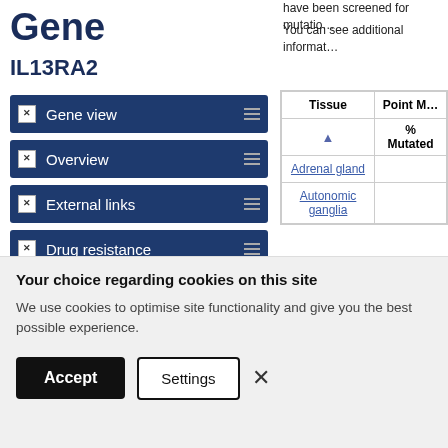Gene
IL13RA2
have been screened for mutatio…
You can see additional informat…
Gene view
Overview
External links
Drug resistance
Tissue distribution
Genome browser
Mutation distribution
| Tissue | Point M… | % Mutated |
| --- | --- | --- |
| Adrenal gland |  |  |
| Autonomic ganglia |  |  |
Your choice regarding cookies on this site
We use cookies to optimise site functionality and give you the best possible experience.